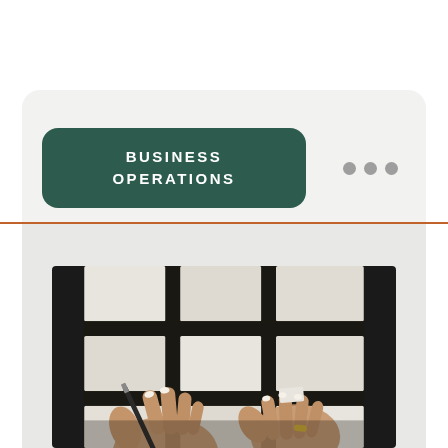BUSINESS OPERATIONS
[Figure (photo): Hands writing with a pen on white business cards arranged on a dark black background, showing a grid pattern of white rectangular cards.]